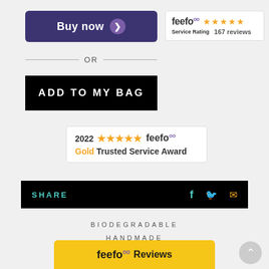[Figure (other): Buy now button with purple background and arrow icon]
[Figure (other): Feefo 5-star Service Rating badge showing 167 reviews]
— OR —
[Figure (other): ADD TO MY BAG black button]
[Figure (other): 2022 feefo Gold Trusted Service Award badge with 5 stars]
[Figure (other): SHARE bar with social icons for Facebook, Twitter, and email]
BIODEGRADABLE
HANDMADE
PALM OIL FREE
[Figure (other): Feefo Reviews yellow bottom banner]